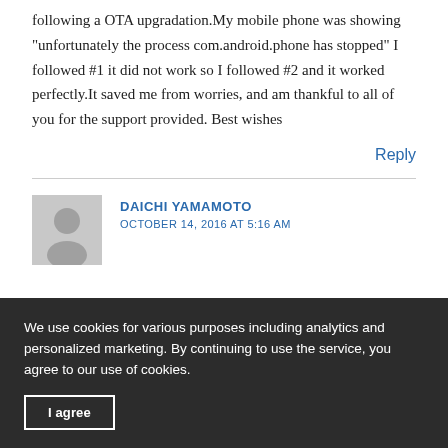following a OTA upgradation.My mobile phone was showing "unfortunately the process com.android.phone has stopped" I followed #1 it did not work so I followed #2 and it worked perfectly.It saved me from worries, and am thankful to all of you for the support provided. Best wishes
Reply
DAICHI YAMAMOTO
OCTOBER 14, 2016 AT 5:16 AM
We use cookies for various purposes including analytics and personalized marketing. By continuing to use the service, you agree to our use of cookies.
I agree